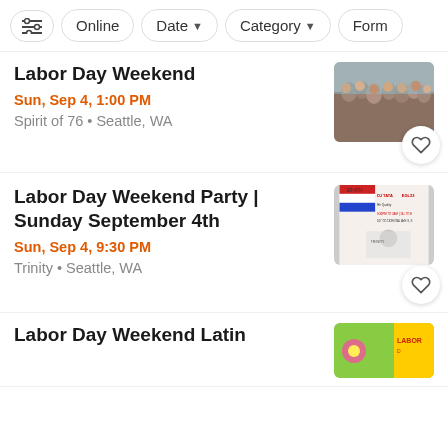Filter bar with: settings icon, Online, Date, Category, Form
Labor Day Weekend
Sun, Sep 4, 1:00 PM
Spirit of 76 • Seattle, WA
[Figure (photo): Crowd of people at an outdoor event]
Labor Day Weekend Party | Sunday September 4th
Sun, Sep 4, 9:30 PM
Trinity • Seattle, WA
[Figure (photo): Event flyer showing DJ TATA, EGL23, 107 Occidental Ave S, Trinity nightclub details]
Labor Day Weekend Latin